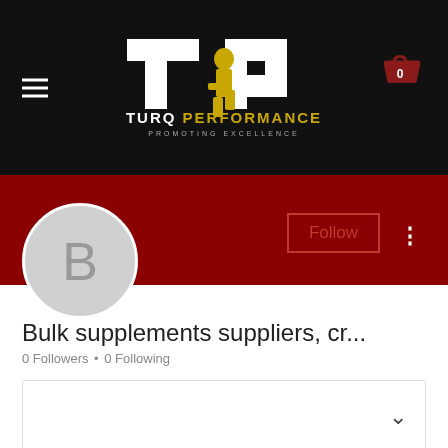[Figure (logo): Turq Performance logo on black background with hamburger menu on left and shopping cart icon on right. Logo shows TP letters with a figure and text 'TURQ PERFORMANCE PROMOTING EXCELLENCE']
[Figure (screenshot): Red banner background with Follow button (outlined in red) and three-dot menu icon on the right. Profile avatar circle with letter B on the left overlapping the red banner.]
Bulk supplements suppliers, cr...
0 Followers • 0 Following
[Figure (other): Collapsed content box with a chevron/down arrow on the right side]
Profile